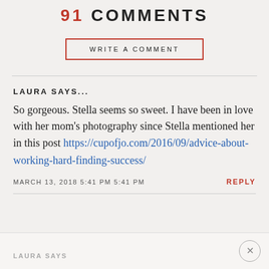91 COMMENTS
WRITE A COMMENT
LAURA SAYS...
So gorgeous. Stella seems so sweet. I have been in love with her mom's photography since Stella mentioned her in this post https://cupofjo.com/2016/09/advice-about-working-hard-finding-success/
MARCH 13, 2018 5:41 PM 5:41 PM
REPLY